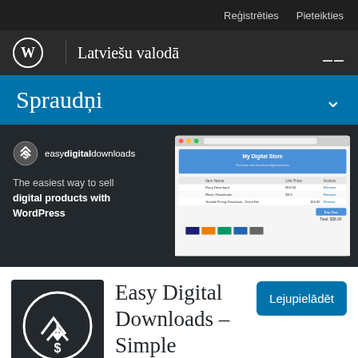Reģistrēties  Pieteikties
[Figure (logo): WordPress logo (circle with W) with vertical divider and site title 'Latviešu valodā' and hamburger menu icon]
Spraudņi
[Figure (screenshot): Easy Digital Downloads plugin banner: logo, tagline 'The easiest way to sell digital products with WordPress', and screenshot of My Digital Store interface]
Easy Digital Downloads – Simple eCommerce for
Lejupielādēt